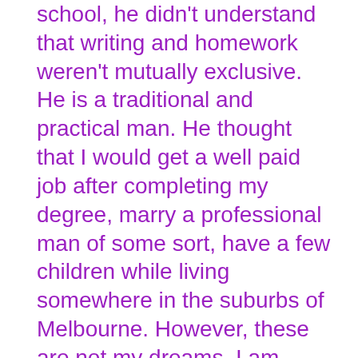school, he didn't understand that writing and homework weren't mutually exclusive. He is a traditional and practical man. He thought that I would get a well paid job after completing my degree, marry a professional man of some sort, have a few children while living somewhere in the suburbs of Melbourne. However, these are not my dreams. I am grateful to my teachers who encouraged me to write and even read some of my creative writing pieces in class, even though this was excruciatingly embarrassing for me.

All of these experiences left me with many conflicting messages about being a writer: fear of starvation, praise, lack of emotional support, attention and embarrassment. Consequently, I